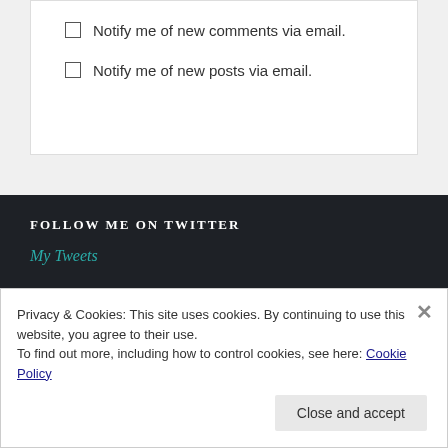Notify me of new comments via email.
Notify me of new posts via email.
FOLLOW ME ON TWITTER
My Tweets
RECENT POSTS
Privacy & Cookies: This site uses cookies. By continuing to use this website, you agree to their use.
To find out more, including how to control cookies, see here: Cookie Policy
Close and accept